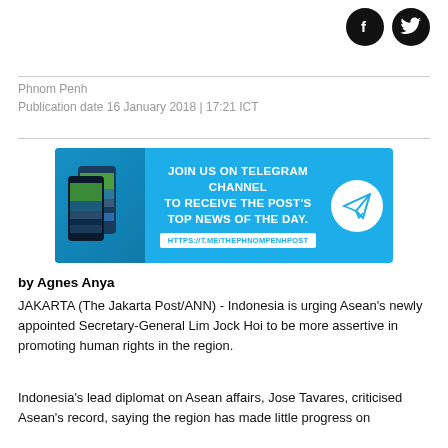[Figure (logo): Facebook and Twitter social media icons (circular black buttons with f and bird symbols) in top right corner]
Phnom Penh
Publication date 16 January 2018 | 17:21 ICT
[Figure (infographic): Advertisement banner for Phnom Penh Post Telegram channel. Blue background with phone images on left, text 'JOIN US ON TELEGRAM CHANNEL TO RECEIVE THE POST'S TOP NEWS OF THE DAY.' with URL HTTPS://T.ME/THEPHNOMPENHPOST and a paper airplane icon in a white circle.]
by Agnes Anya
JAKARTA (The Jakarta Post/ANN) - Indonesia is urging Asean's newly appointed Secretary-General Lim Jock Hoi to be more assertive in promoting human rights in the region.
Indonesia's lead diplomat on Asean affairs, Jose Tavares, criticised Asean's record, saying the region has made little progress on